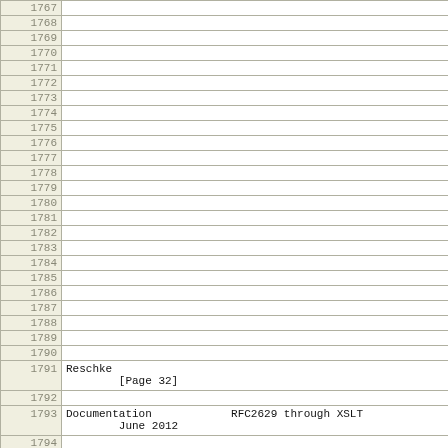| line | content |
| --- | --- |
| 1767 |  |
| 1768 |  |
| 1769 |  |
| 1770 |  |
| 1771 |  |
| 1772 |  |
| 1773 |  |
| 1774 |  |
| 1775 |  |
| 1776 |  |
| 1777 |  |
| 1778 |  |
| 1779 |  |
| 1780 |  |
| 1781 |  |
| 1782 |  |
| 1783 |  |
| 1784 |  |
| 1785 |  |
| 1786 |  |
| 1787 |  |
| 1788 |  |
| 1789 |  |
| 1790 |  |
| 1791 | Reschke
        [Page 32] |
| 1792 |  |
| 1793 | Documentation            RFC2629 through XSLT
        June 2012 |
| 1794 |  |
| 1795 |  |
| 1796 |     For instance, as of 2008-07-12, the script produces for |
| 1797 |    <http://greenbytes.de/tech/webdav/rfc2518.xml>: |
| 1798 |  |